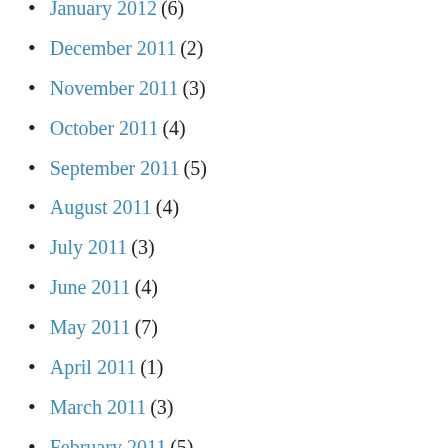January 2012 (6)
December 2011 (2)
November 2011 (3)
October 2011 (4)
September 2011 (5)
August 2011 (4)
July 2011 (3)
June 2011 (4)
May 2011 (7)
April 2011 (1)
March 2011 (3)
February 2011 (5)
January 2011 (1)
December 2010 (4)
November 2010 (3)
October 2010 (5)
September 2010 (5)